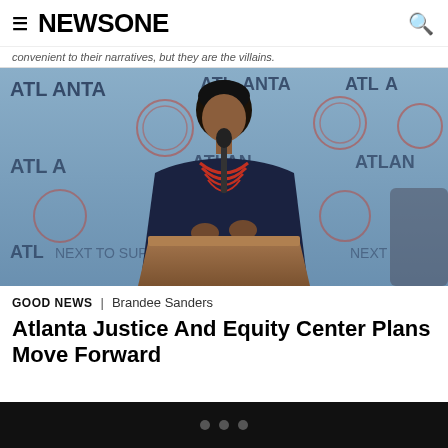NEWSONE
convenient to their narratives, but they are the villains.
[Figure (photo): A woman in a dark navy blazer with a red beaded necklace speaking at a podium with Atlanta branding backdrop. She appears to be giving a press conference or official speech at an Atlanta event.]
GOOD NEWS | Brandee Sanders
Atlanta Justice And Equity Center Plans Move Forward